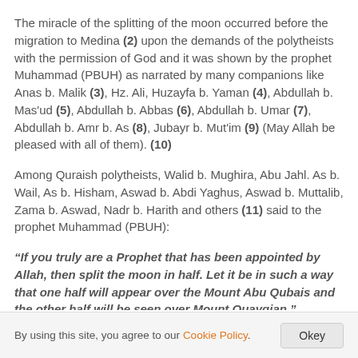The miracle of the splitting of the moon occurred before the migration to Medina (2) upon the demands of the polytheists with the permission of God and it was shown by the prophet Muhammad (PBUH) as narrated by many companions like Anas b. Malik (3), Hz. Ali, Huzayfa b. Yaman (4), Abdullah b. Mas'ud (5), Abdullah b. Abbas (6), Abdullah b. Umar (7), Abdullah b. Amr b. As (8), Jubayr b. Mut'im (9) (May Allah be pleased with all of them). (10)
Among Quraish polytheists, Walid b. Mughira, Abu Jahl. As b. Wail, As b. Hisham, Aswad b. Abdi Yaghus, Aswad b. Muttalib, Zama b. Aswad, Nadr b. Harith and others (11) said to the prophet Muhammad (PBUH):
“If you truly are a Prophet that has been appointed by Allah, then split the moon in half. Let it be in such a way that one half will appear over the Mount Abu Qubais and the other half will be seen over Mount Quayqian.”
By using this site, you agree to our Cookie Policy. Okey